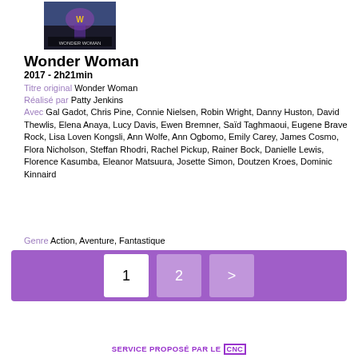[Figure (photo): Wonder Woman movie poster thumbnail]
Wonder Woman
2017 - 2h21min
Titre original Wonder Woman
Réalisé par Patty Jenkins
Avec Gal Gadot, Chris Pine, Connie Nielsen, Robin Wright, Danny Huston, David Thewlis, Elena Anaya, Lucy Davis, Ewen Bremner, Saïd Taghmaoui, Eugene Brave Rock, Lisa Loven Kongsli, Ann Wolfe, Ann Ogbomo, Emily Carey, James Cosmo, Flora Nicholson, Steffan Rhodri, Rachel Pickup, Rainer Bock, Danielle Lewis, Florence Kasumba, Eleanor Matsuura, Josette Simon, Doutzen Kroes, Dominic Kinnaird
Genre Action, Aventure, Fantastique
[Figure (infographic): Purple pagination bar with page buttons 1 (active/white), 2, and > (next)]
SERVICE PROPOSÉ PAR LE CNC